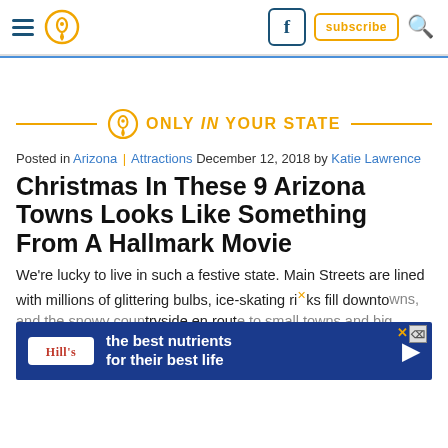Only In Your State navigation header with hamburger menu, location pin icon, Facebook icon, subscribe button, and search icon
[Figure (logo): Only In Your State logo with location pin icon and orange/gold text reading ONLY IN YOUR STATE with horizontal orange lines on either side]
Posted in Arizona | Attractions December 12, 2018 by Katie Lawrence
Christmas In These 9 Arizona Towns Looks Like Something From A Hallmark Movie
We're lucky to live in such a festive state. Main Streets are lined with millions of glittering bulbs, ice-skating rinks fill downtowns, and snowy countryside en route to ... towns alike in Arizona go all-out for the holiday season, and these nine celebrate Christmas like nowhere else in America.
[Figure (screenshot): Hill's pet nutrition advertisement with dark blue background, Hill's logo, text reading 'the best nutrients for their best life', and a play button arrow]